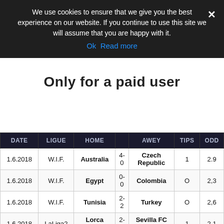We use cookies to ensure that we give you the best experience on our website. If you continue to use this site we will assume that you are happy with it.
Ok   Read more
Only for a paid user
| DATE | LIGUE | HOME |  | AWEY | TIPS | ODD |
| --- | --- | --- | --- | --- | --- | --- |
| 1.6.2018 | W.I.F. | Australia | 4-0 | Czech Republic | 1 | 2.9 |
| 1.6.2018 | W.I.F. | Egypt | 0-0 | Colombia | O | 2,3 |
| 1.6.2018 | W.I.F. | Tunisia | 2-2 | Turkey | O | 2,6 |
| 1.6.2018 | LaLiga2 | Lorca FC | 2-1 | Sevilla FC B | 1 | 2,1 |
| System 3 of 4 |  |  |  |  | odds | 37. |